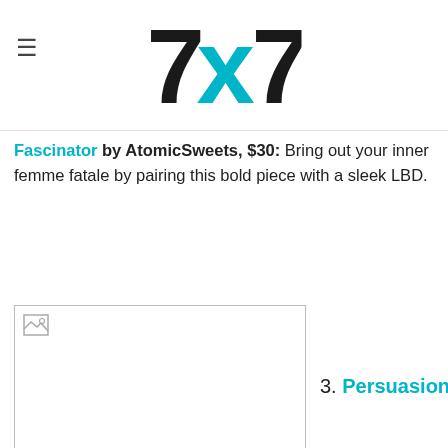7x7 logo with hamburger menu icon
Fascinator by AtomicSweets, $30: Bring out your inner femme fatale by pairing this bold piece with a sleek LBD.
[Figure (photo): Product image placeholder (broken image icon visible), showing a fascinator accessory]
3. Persuasion
Necklace by theGlassOnion, $41: A dazzling mix of crystal and chunky gunmetal, this must-have layering piece will look perfect with an oversized tee or funky